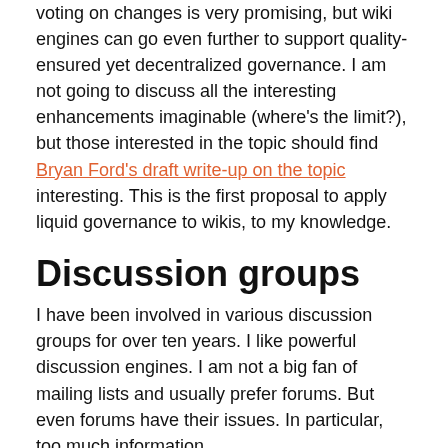voting on changes is very promising, but wiki engines can go even further to support quality-ensured yet decentralized governance. I am not going to discuss all the interesting enhancements imaginable (where's the limit?), but those interested in the topic should find Bryan Ford's draft write-up on the topic interesting. This is the first proposal to apply liquid governance to wikis, to my knowledge.
Discussion groups
I have been involved in various discussion groups for over ten years. I like powerful discussion engines. I am not a big fan of mailing lists and usually prefer forums. But even forums have their issues. In particular, too much information…
Information overload and filtering
The Internet is full of information. In one sense, this